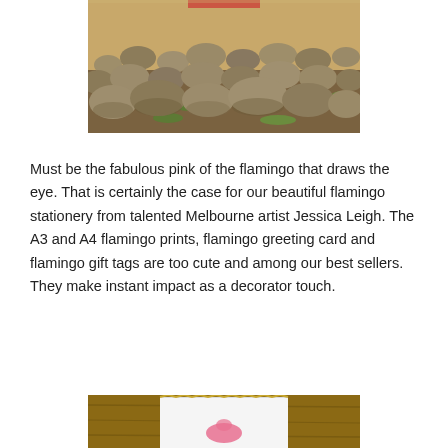[Figure (photo): Outdoor photo showing a rocky field with many rounded stones and patches of grass, taken in warm golden sunlight.]
Must be the fabulous pink of the flamingo that draws the eye. That is certainly the case for our beautiful flamingo stationery from talented Melbourne artist Jessica Leigh. The A3 and A4 flamingo prints, flamingo greeting card and flamingo gift tags are too cute and among our best sellers. They make instant impact as a decorator touch.
[Figure (photo): Partial photo showing a white card or print with a flamingo image, placed on a brown/wooden surface, with a decorative border visible at the top.]